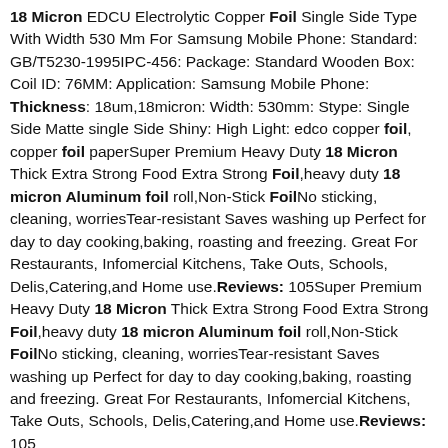18 Micron EDCU Electrolytic Copper Foil Single Side Type With Width 530 Mm For Samsung Mobile Phone: Standard: GB/T5230-1995IPC-456: Package: Standard Wooden Box: Coil ID: 76MM: Application: Samsung Mobile Phone: Thickness: 18um,18micron: Width: 530mm: Stype: Single Side Matte single Side Shiny: High Light: edco copper foil, copper foil paperSuper Premium Heavy Duty 18 Micron Thick Extra Strong Food Extra Strong Foil,heavy duty 18 micron Aluminum foil roll,Non-Stick FoilNo sticking, cleaning, worriesTear-resistant Saves washing up Perfect for day to day cooking,baking, roasting and freezing. Great For Restaurants, Infomercial Kitchens, Take Outs, Schools, Delis,Catering,and Home use.Reviews: 105Super Premium Heavy Duty 18 Micron Thick Extra Strong Food Extra Strong Foil,heavy duty 18 micron Aluminum foil roll,Non-Stick FoilNo sticking, cleaning, worriesTear-resistant Saves washing up Perfect for day to day cooking,baking, roasting and freezing. Great For Restaurants, Infomercial Kitchens, Take Outs, Schools, Delis,Catering,and Home use.Reviews: 105
Toreda Silver Aluminium Foil, Thickness: 10 To 18 Micron
Toreda Global Private Limited - Offering Toreda Silver Aluminium Foil, Thickness: 10 To 18 Micron, Packaging Size: 1 Kg at Rs 280/kg in Vadodara, Gujarat. Read about company. Get contact details and address ID: 21775754248Ultra Thin Aluminum Nanofoil AMERICAN ELEMENTS About Ultra Thin Aluminum Nanofoil. American Elements Nanometal nanofoil manufacturing unit produces ultra thin foil as thin as only 50 nm thick in diameters up to 910 mm. Typically, foils are in thicknesses from 20 nm to 1000